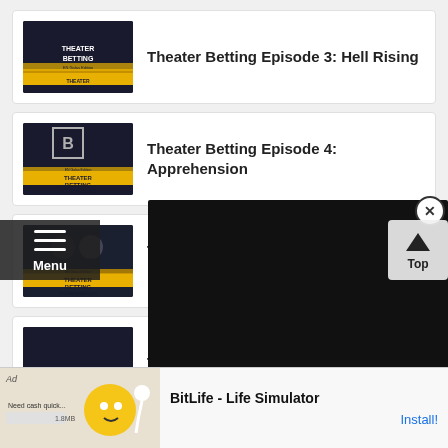Theater Betting Episode 3: Hell Rising
Theater Betting Episode 4: Apprehension
Theater Betting Episode 5: Mathemagician
Theater Betti... (Episode 6)
Theater Betti... Disappearanc...
[Figure (screenshot): Video player overlay showing GamePress logo on black background with close button]
[Figure (screenshot): Mobile ad banner for BitLife Life Simulator with Install button]